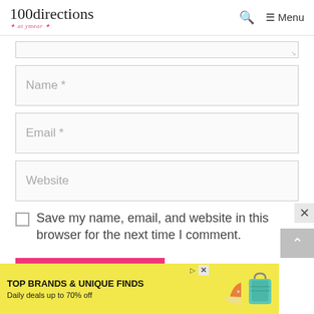100directions — Menu
[Figure (screenshot): Textarea input stub with resize handle at bottom right]
Name *
Email *
Website
Save my name, email, and website in this browser for the next time I comment.
POST COMMENT
[Figure (screenshot): Advertisement banner: TOP BRANDS & UNIQUE FINDS — Daily deals up to 70% off — Zulily]